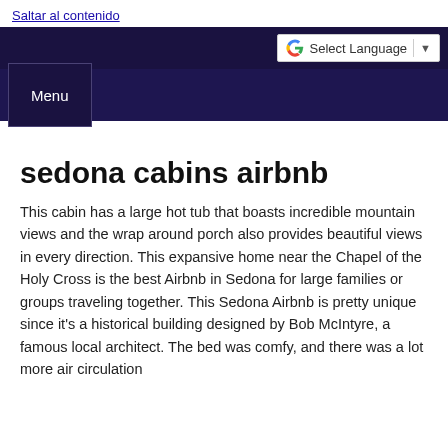Saltar al contenido
Select Language
Menu
sedona cabins airbnb
This cabin has a large hot tub that boasts incredible mountain views and the wrap around porch also provides beautiful views in every direction. This expansive home near the Chapel of the Holy Cross is the best Airbnb in Sedona for large families or groups traveling together. This Sedona Airbnb is pretty unique since it's a historical building designed by Bob McIntyre, a famous local architect. The bed was comfy, and there was a lot more air circulation